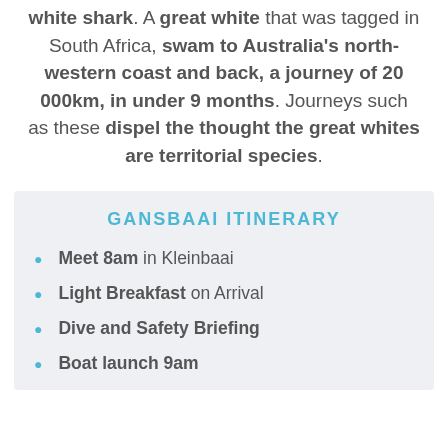white shark. A great white that was tagged in South Africa, swam to Australia's north-western coast and back, a journey of 20 000km, in under 9 months. Journeys such as these dispel the thought the great whites are territorial species.
GANSBAAI ITINERARY
Meet 8am in Kleinbaai
Light Breakfast on Arrival
Dive and Safety Briefing
Boat launch 9am